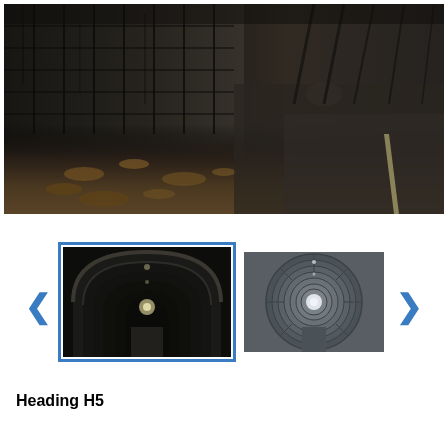[Figure (photo): Large main image showing a dark stone tunnel interior wall with leaves/debris on the ground, viewed from the side perspective. Dark stone brick wall texture on the left, pathway with fallen leaves on the floor, receding into the distance.]
[Figure (photo): Thumbnail gallery strip showing two tunnel photos with blue navigation arrows. Left thumbnail (selected with blue border): dark arched pedestrian tunnel viewed from inside looking toward a distant light. Right thumbnail: circular/cylindrical tunnel viewed head-on from inside, showing concentric ring structure with ceiling lights.]
Heading H5